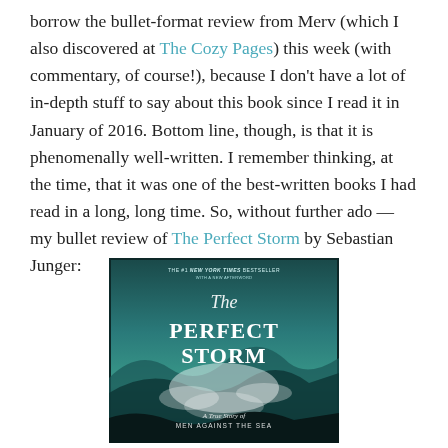borrow the bullet-format review from Merv (which I also discovered at The Cozy Pages) this week (with commentary, of course!), because I don't have a lot of in-depth stuff to say about this book since I read it in January of 2016. Bottom line, though, is that it is phenomenally well-written. I remember thinking, at the time, that it was one of the best-written books I had read in a long, long time. So, without further ado — my bullet review of The Perfect Storm by Sebastian Junger:
[Figure (photo): Book cover of 'The Perfect Storm' by Sebastian Junger. Dark teal/green stormy ocean scene with large waves. Text reads: THE #1 NEW YORK TIMES BESTSELLER WITH A NEW AFTERWORD / The / PERFECT / STORM / A True Story of / MEN AGAINST THE SEA]